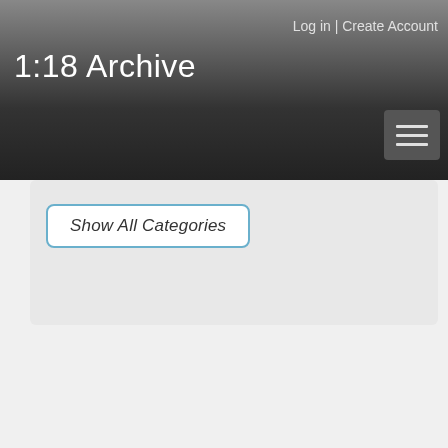Log in | Create Account
1:18 Archive
Show All Categories